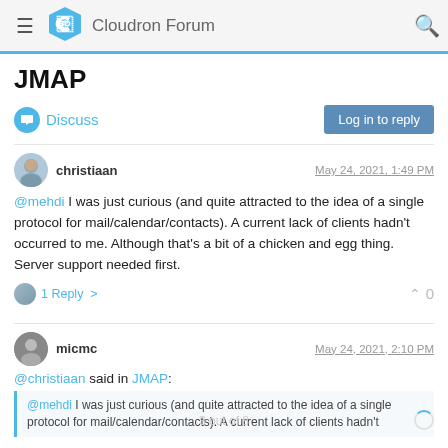Cloudron Forum
JMAP
Discuss
Log in to reply
christiaan — May 24, 2021, 1:49 PM
@mehdi I was just curious (and quite attracted to the idea of a single protocol for mail/calendar/contacts). A current lack of clients hadn't occurred to me. Although that's a bit of a chicken and egg thing. Server support needed first.
1 Reply >  0
micmc — May 24, 2021, 2:10 PM
@christiaan said in JMAP:
@mehdi I was just curious (and quite attracted to the idea of a single protocol for mail/calendar/contacts). A current lack of clients hadn't